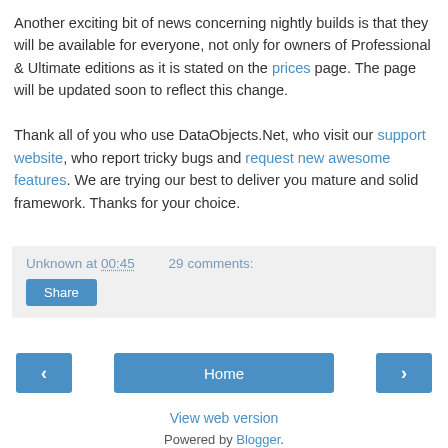Another exciting bit of news concerning nightly builds is that they will be available for everyone, not only for owners of Professional & Ultimate editions as it is stated on the prices page. The page will be updated soon to reflect this change.

Thank all of you who use DataObjects.Net, who visit our support website, who report tricky bugs and request new awesome features. We are trying our best to deliver you mature and solid framework. Thanks for your choice.
Unknown at 00:45   29 comments:
Share
‹
Home
›
View web version
Powered by Blogger.